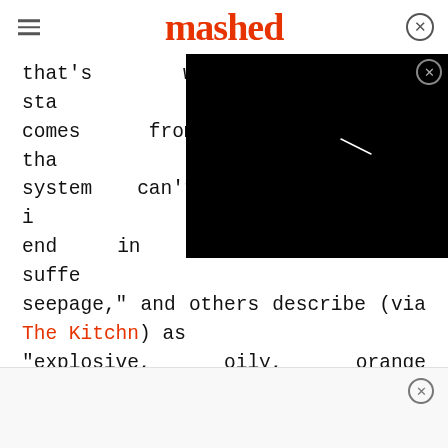mashed
that's where problems start. It comes from wax ester that the system can't process... so it can end in an way some suffer as seepage, and others describe (via The Kitchn) as "explosive, oily, orange diarrhea".
[Figure (screenshot): Black video player overlay with a faint diagonal scratch mark]
It's entirely possible to see it popping up on menus under other names, like white tuna, Hawaiian walu, and butterfish. Some governments and agencies have issued warnings about the consumption...